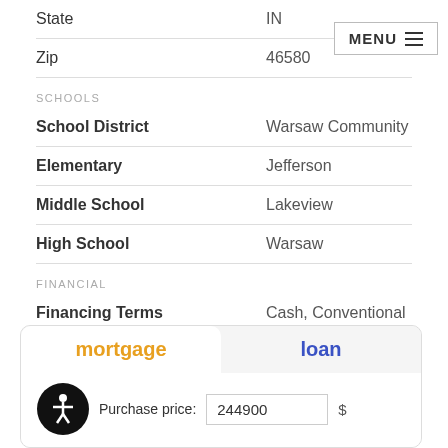| Field | Value |
| --- | --- |
| State | IN |
| Zip | 46580 |
SCHOOLS
| Field | Value |
| --- | --- |
| School District | Warsaw Community |
| Elementary | Jefferson |
| Middle School | Lakeview |
| High School | Warsaw |
FINANCIAL
| Field | Value |
| --- | --- |
| Financing Terms | Cash, Conventional |
| Assoc. Dues | $0.00 Not Applicable |
[Figure (screenshot): Mortgage/loan calculator widget with tabs for 'mortgage' and 'loan', accessibility icon, purchase price field showing 244900]